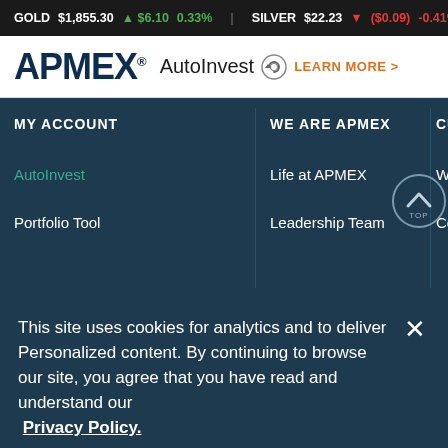GOLD $1,855.30 ▲ $6.10 0.33%   SILVER $22.23 ▼ ($0.09) -0.41%
[Figure (logo): APMEX logo with registered trademark symbol, followed by AutoInvest branding with circular arrow icon and LEARN MORE > link in orange]
MY ACCOUNT
AutoInvest
Portfolio Tool
WE ARE APMEX
Life at APMEX
Leadership Team
CUSTO
Where
Contact
This site uses cookies for analytics and to deliver Personalized content. By continuing to browse our site, you agree that you have read and understand our Privacy Policy.